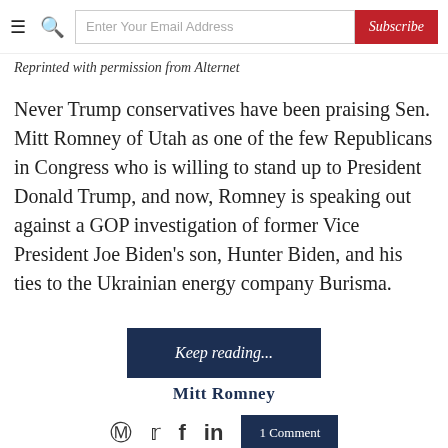≡  🔍  Enter Your Email Address  Subscribe
Reprinted with permission from Alternet
Never Trump conservatives have been praising Sen. Mitt Romney of Utah as one of the few Republicans in Congress who is willing to stand up to President Donald Trump, and now, Romney is speaking out against a GOP investigation of former Vice President Joe Biden's son, Hunter Biden, and his ties to the Ukrainian energy company Burisma.
Keep reading...
Mitt Romney
1 Comment